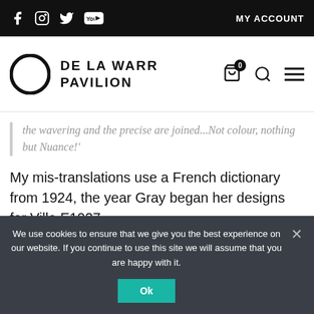DE LA WARR PAVILION | MY ACCOUNT
the wavering and the precise are joined...Not colour, nothing but Nuance!'
My mis-translations use a French dictionary from 1924, the year Gray began her designs for Villa E1027.
We use cookies to ensure that we give you the best experience on our website. If you continue to use this site we will assume that you are happy with it.